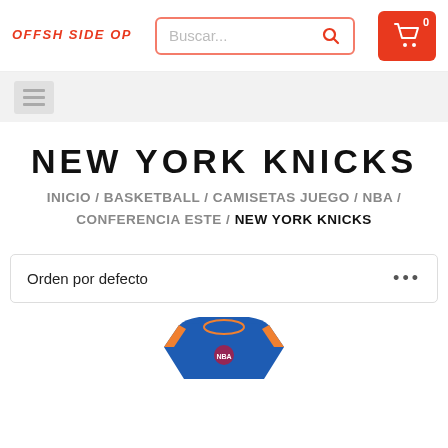OFFISH SIDESHOP — header with logo, search bar, cart
Buscar...
NEW YORK KNICKS
INICIO / BASKETBALL / CAMISETAS JUEGO / NBA / CONFERENCIA ESTE / NEW YORK KNICKS
Orden por defecto